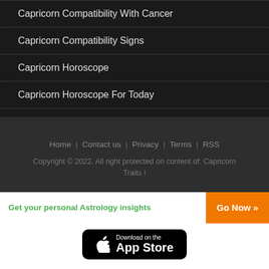Capricorn Compatibility With Cancer
Capricorn Compatibility Signs
Capricorn Horoscope
Capricorn Horoscope For Today
Home | Contact us | Privacy | Terms | RSS
Copyright © 2022. All right protected on content of: Capricorn Traits !
Get your personal Astrology insights  Go Now »
[Figure (logo): Download on the App Store badge]